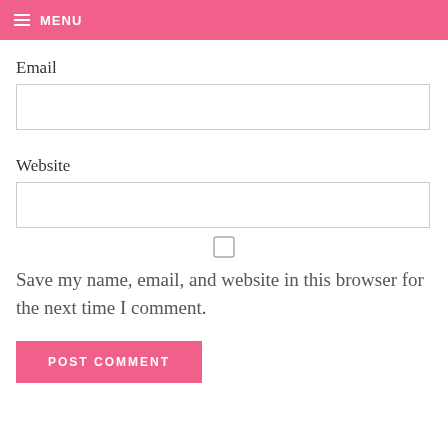MENU
Email
Website
Save my name, email, and website in this browser for the next time I comment.
POST COMMENT